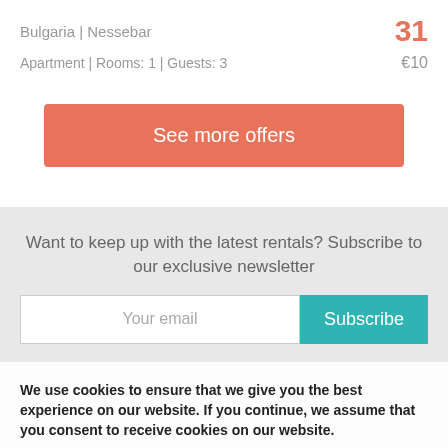Bulgaria | Nessebar
Apartment | Rooms: 1 | Guests: 3   €10
See more offers
Want to keep up with the latest rentals? Subscribe to our exclusive newsletter
Your email
Subscribe
We use cookies to ensure that we give you the best experience on our website. If you continue, we assume that you consent to receive cookies on our website.
About us
General terms
Safety
Money withdrawal
OK
Узнать больше